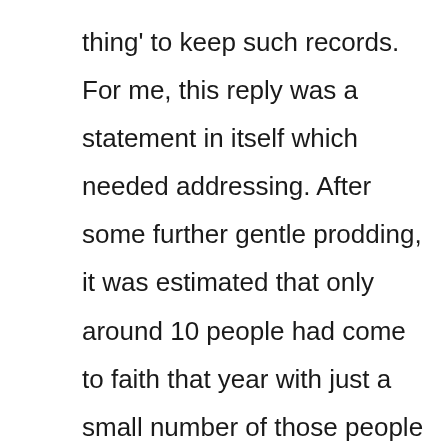thing' to keep such records. For me, this reply was a statement in itself which needed addressing. After some further gentle prodding, it was estimated that only around 10 people had come to faith that year with just a small number of those people being baptised.

What transpired was a good church led by good people with some excellent programmes....but lacking an intentional focus to see non-Christian friends & family coming to